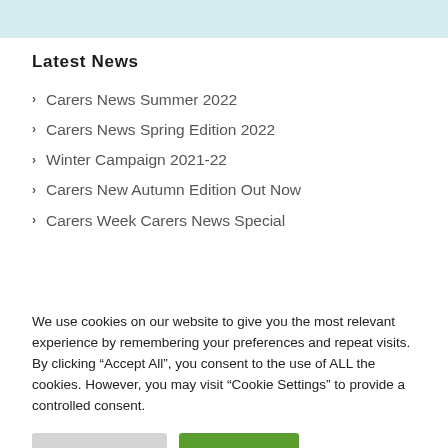Latest News
Carers News Summer 2022
Carers News Spring Edition 2022
Winter Campaign 2021-22
Carers New Autumn Edition Out Now
Carers Week Carers News Special
We use cookies on our website to give you the most relevant experience by remembering your preferences and repeat visits. By clicking “Accept All”, you consent to the use of ALL the cookies. However, you may visit “Cookie Settings” to provide a controlled consent.
Cookie Settings | Accept All